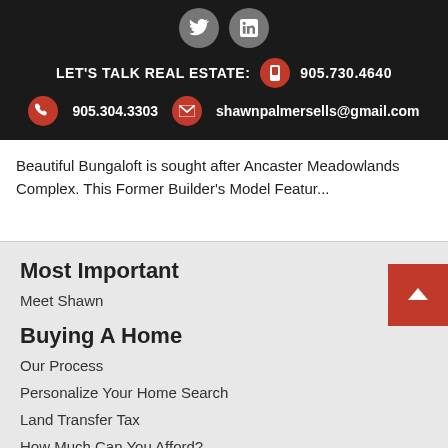LET'S TALK REAL ESTATE: 905.730.4640 | 905.304.3303 | shawnpalmersells@gmail.com
Beautiful Bungaloft is sought after Ancaster Meadowlands Complex. This Former Builder's Model Featur...
Most Important
Meet Shawn
Buying A Home
Our Process
Personalize Your Home Search
Land Transfer Tax
How Much Can You Afford?